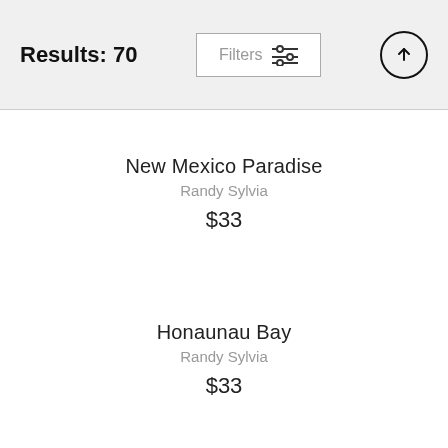Results: 70
Filters
New Mexico Paradise
Randy Sylvia
$33
Honaunau Bay
Randy Sylvia
$33
New Mexico Trail
Randy Sylvia